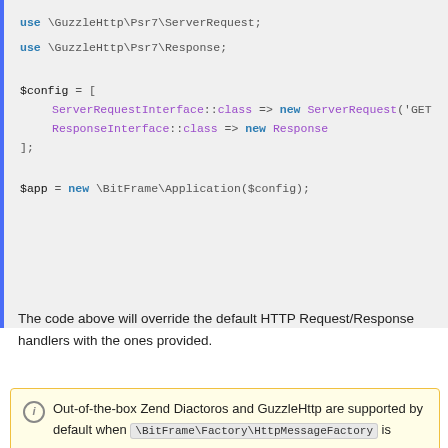[Figure (screenshot): Code block showing PHP use statements and config array with ServerRequestInterface and ResponseInterface bindings, plus $app instantiation]
The code above will override the default HTTP Request/Response handlers with the ones provided.
Out-of-the-box Zend Diactoros and GuzzleHttp are supported by default when \BitFrame\Factory\HttpMessageFactory is